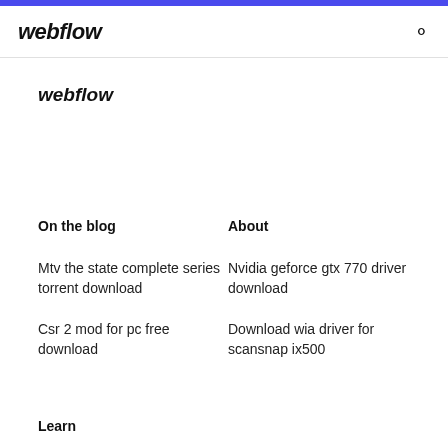webflow
webflow
On the blog
About
Mtv the state complete series torrent download
Nvidia geforce gtx 770 driver download
Csr 2 mod for pc free download
Download wia driver for scansnap ix500
Learn